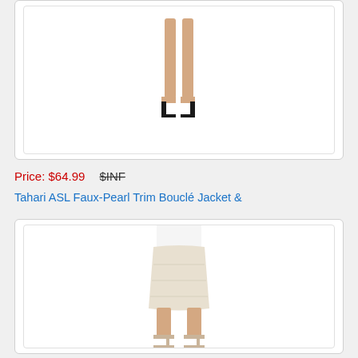[Figure (photo): Product image: legs of model wearing black high heels, cropped at mid-thigh, white background]
Price: $64.99   $INF
Tahari ASL Faux-Pearl Trim Bouclé Jacket &
[Figure (photo): Product image: model wearing cream/ivory textured pencil skirt with beige ankle-strap heels, white background]